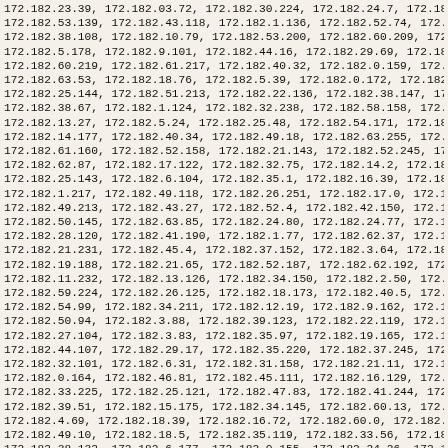172.182.23.39, 172.182.03.72, 172.182.30.224, 172.182.24.7, 172.182.43.30, 172.182.53.139, 172.182.43.118, 172.182.1.136, 172.182.52.74, 172.182.41.86, 172.182.38.108, 172.182.10.79, 172.182.53.200, 172.182.60.209, 172.182.36.81, 172.182.5.178, 172.182.9.101, 172.182.44.16, 172.182.29.69, 172.182.47.254, 172.182.60.219, 172.182.61.217, 172.182.40.32, 172.182.0.159, 172.182.2.37, 172.182.63.53, 172.182.18.76, 172.182.5.39, 172.182.0.172, 172.182.36.171, 172.182.25.144, 172.182.51.213, 172.182.22.136, 172.182.38.147, 172.182.51.2, 172.182.38.67, 172.182.1.124, 172.182.32.238, 172.182.58.158, 172.182.20.248, 172.182.13.27, 172.182.5.24, 172.182.25.48, 172.182.54.171, 172.182.25.10, 172.182.14.177, 172.182.40.34, 172.182.49.18, 172.182.63.255, 172.182.42.93, 172.182.61.160, 172.182.52.158, 172.182.21.143, 172.182.52.245, 172.182.3.12, 172.182.62.87, 172.182.17.122, 172.182.32.75, 172.182.14.2, 172.182.19.222, 172.182.25.143, 172.182.6.104, 172.182.35.1, 172.182.16.39, 172.182.30.198, 172.182.1.217, 172.182.49.118, 172.182.26.251, 172.182.17.0, 172.182.10.47, 172.182.49.213, 172.182.43.27, 172.182.52.4, 172.182.42.150, 172.182.4.185, 172.182.50.145, 172.182.63.85, 172.182.24.80, 172.182.24.77, 172.182.41.98, 172.182.28.120, 172.182.41.190, 172.182.1.77, 172.182.62.37, 172.182.16.173, 172.182.21.231, 172.182.45.4, 172.182.37.152, 172.182.3.64, 172.182.37.87, 172.182.19.188, 172.182.21.65, 172.182.52.187, 172.182.62.192, 172.182.22.22, 172.182.11.232, 172.182.13.126, 172.182.34.150, 172.182.2.50, 172.182.44.19, 172.182.59.224, 172.182.26.125, 172.182.18.173, 172.182.40.5, 172.182.42.74, 172.182.54.99, 172.182.34.211, 172.182.12.19, 172.182.9.162, 172.182.43.130, 172.182.50.94, 172.182.3.88, 172.182.39.123, 172.182.22.119, 172.182.56.174, 172.182.27.104, 172.182.3.83, 172.182.35.97, 172.182.19.165, 172.182.2.157, 172.182.44.107, 172.182.29.17, 172.182.35.220, 172.182.37.245, 172.182.35.22, 172.182.32.101, 172.182.6.31, 172.182.31.158, 172.182.21.11, 172.182.36.241, 172.182.0.164, 172.182.46.81, 172.182.45.111, 172.182.16.129, 172.182.51.207, 172.182.33.225, 172.182.25.121, 172.182.47.83, 172.182.41.244, 172.182.45.33, 172.182.39.51, 172.182.15.175, 172.182.34.145, 172.182.60.13, 172.182.23.164, 172.182.4.69, 172.182.18.39, 172.182.16.72, 172.182.60.0, 172.182.41.242, 172.182.49.10, 172.182.18.5, 172.182.35.119, 172.182.33.56, 172.182.36.246, 172.182.38.132, 172.182.6.177, 172.182.0.155, 172.182.24.26, 172.182.5.70, 172.182.12.177, 172.182.11.1, 172.182.14, 172.182.25.196, 172.182.17.22